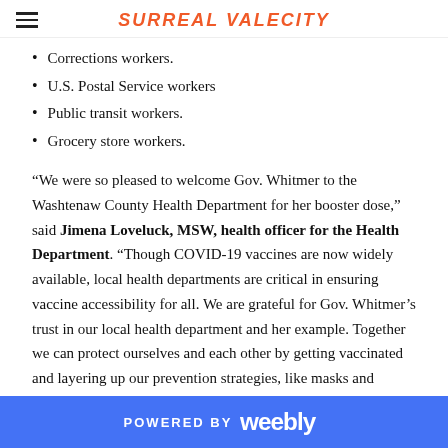SURREAL VALECITY
Corrections workers.
U.S. Postal Service workers
Public transit workers.
Grocery store workers.
“We were so pleased to welcome Gov. Whitmer to the Washtenaw County Health Department for her booster dose,” said Jimena Loveluck, MSW, health officer for the Health Department. “Though COVID-19 vaccines are now widely available, local health departments are critical in ensuring vaccine accessibility for all. We are grateful for Gov. Whitmer’s trust in our local health department and her example. Together we can protect ourselves and each other by getting vaccinated and layering up our prevention strategies, like masks and distance, when local transmission is elevated.”
POWERED BY weebly